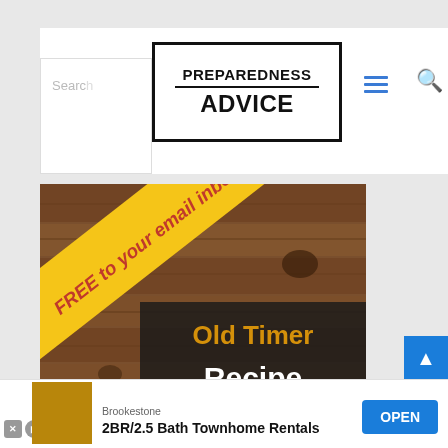Preparedness Advice
[Figure (logo): Preparedness Advice logo with bold black text on white background with black border]
[Figure (screenshot): Search box with placeholder text 'Search']
[Figure (illustration): Hamburger menu icon (three blue horizontal lines)]
[Figure (illustration): Magnifying glass search icon]
[Figure (photo): Old Timer Recipe Collection promo image with yellow diagonal banner saying FREE to your email inbox!, on a wood plank background with dark overlay text showing Old Timer Recipe Collection]
[Figure (other): Advertisement: Brookestone 2BR/2.5 Bath Townhome Rentals with OPEN button]